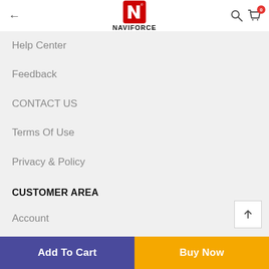← NAVIFORCE [logo] 🔍 🛒 0
Help Center
Feedback
CONTACT US
Terms Of Use
Privacy & Policy
CUSTOMER AREA
Account
Wishlist
Shopping Cart
Checkout
Add To Cart | Buy Now